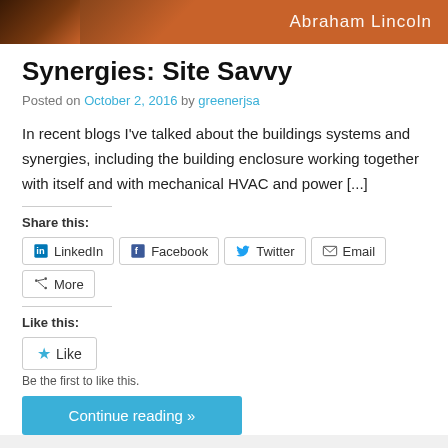[Figure (photo): Header banner with brownish-orange background showing partial face/portrait and text 'Abraham Lincoln' in white on the right side]
Synergies: Site Savvy
Posted on October 2, 2016 by greenerjsa
In recent blogs I've talked about the buildings systems and synergies, including the building enclosure working together with itself and with mechanical HVAC and power [...]
Share this:
LinkedIn  Facebook  Twitter  Email  More
Like this:
Like
Be the first to like this.
Continue reading »